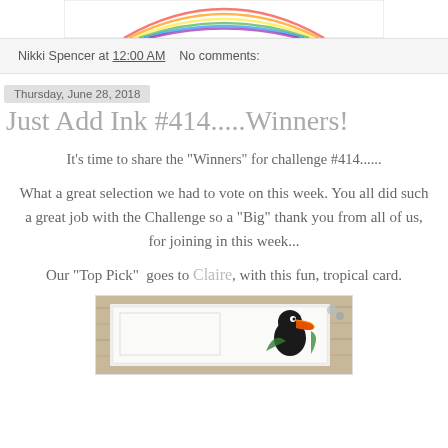[Figure (illustration): Top portion of a decorative rainbow/arc illustration on a white card background]
Nikki Spencer at 12:00 AM   No comments:
Thursday, June 28, 2018
Just Add Ink #414.....Winners!
It's time to share the "Winners" for challenge #414......
What a great selection we had to vote on this week. You all did such a great job with the Challenge so a "Big" thank you from all of us, for joining in this week...
Our "Top Pick"  goes to Claire, with this fun, tropical card.
[Figure (photo): Photo of a handmade card on a wooden background featuring a tropical bird (toucan) design with colorful elements]